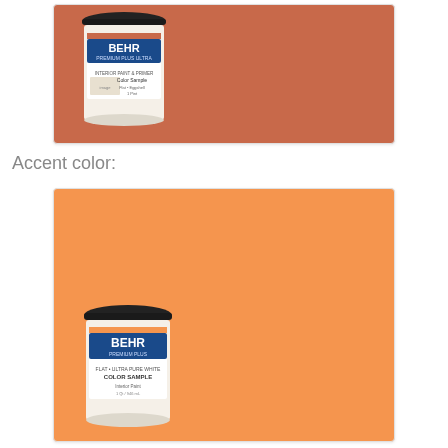[Figure (photo): BEHR Premium Plus Ultra paint sample can (terracotta/rust color) displayed against an orange-terracotta color swatch background, shown in a card with white border]
Accent color:
[Figure (photo): BEHR Premium Plus paint Color Sample can (blue label) displayed against a bright orange color swatch background, shown in a card with white border. The can is positioned at the bottom-left of the swatch.]